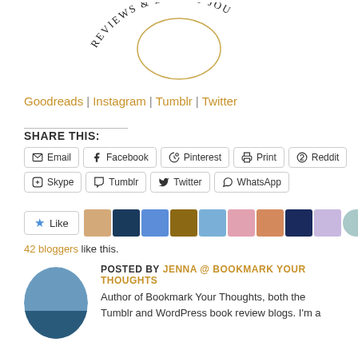[Figure (logo): Circular logo with text 'REVIEWS & BULLET JOU...' in a curved arc, with a decorative ring/oval shape in the center]
Goodreads | Instagram | Tumblr | Twitter
SHARE THIS:
Email | Facebook | Pinterest | Print | Reddit | Skype | Tumblr | Twitter | WhatsApp
Like | [42 bloggers avatars]
42 bloggers like this.
POSTED BY JENNA @ BOOKMARK YOUR THOUGHTS
Author of Bookmark Your Thoughts, both the Tumblr and WordPress book review blogs. I'm a